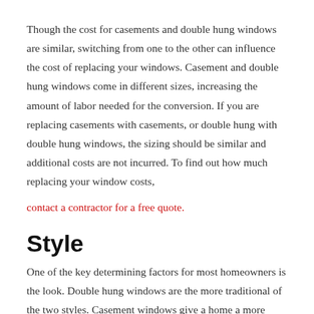Though the cost for casements and double hung windows are similar, switching from one to the other can influence the cost of replacing your windows. Casement and double hung windows come in different sizes, increasing the amount of labor needed for the conversion. If you are replacing casements with casements, or double hung with double hung windows, the sizing should be similar and additional costs are not incurred. To find out how much replacing your window costs,
contact a contractor for a free quote.
Style
One of the key determining factors for most homeowners is the look. Double hung windows are the more traditional of the two styles. Casement windows give a home a more